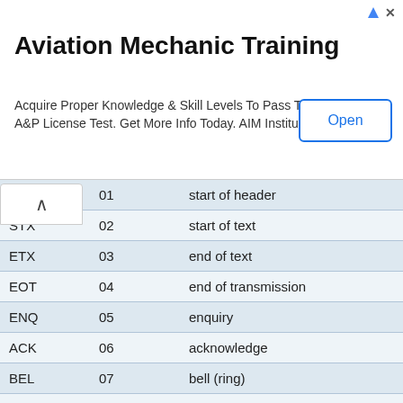[Figure (screenshot): Aviation Mechanic Training advertisement banner with Open button]
| Abbr | Code | Description |
| --- | --- | --- |
|  | 01 | start of header |
| STX | 02 | start of text |
| ETX | 03 | end of text |
| EOT | 04 | end of transmission |
| ENQ | 05 | enquiry |
| ACK | 06 | acknowledge |
| BEL | 07 | bell (ring) |
| BS | 08 | backspace |
| HT | 09 | horizontal tab |
| LF | 10 | line feed |
| VT | 11 | vertical tab |
| FF | 12 | form feed |